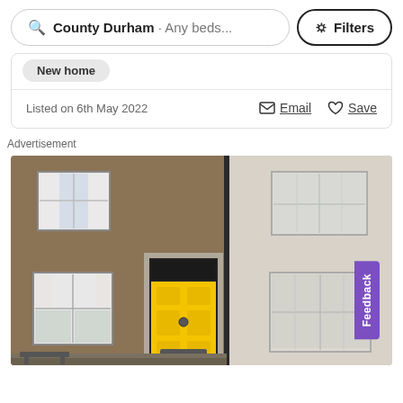[Figure (screenshot): Search bar UI with 'County Durham · Any beds...' text and a Filters button]
New home
Listed on 6th May 2022
Email
Save
Advertisement
[Figure (photo): Photograph of two terraced houses side by side — left in brown brick, right in whitewashed brick — with a bright yellow front door in the centre and various sash windows visible. A vertical purple 'Feedback' tab appears on the right edge.]